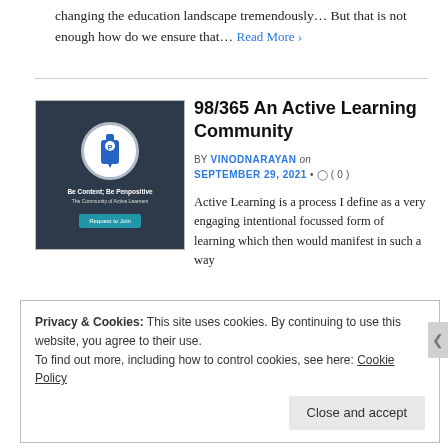changing the education landscape tremendously… But that is not enough how do we ensure that… Read More ›
98/365 An Active Learning Community
BY VINODNARAYAN on SEPTEMBER 29, 2021 • ( 0 )
[Figure (illustration): Dark navy book/pen logo with white circle icon, text 'Be Content; Be Penpositive', 'The Community of Active Learners', and a teal 'Request to Join' button]
Active Learning is a process I define as a very engaging intentional focussed form of learning which then would manifest in such a way that every act of consumption will result in some form of learning. In my opinion this… Read More ›
Privacy & Cookies: This site uses cookies. By continuing to use this website, you agree to their use.
To find out more, including how to control cookies, see here: Cookie Policy
Close and accept